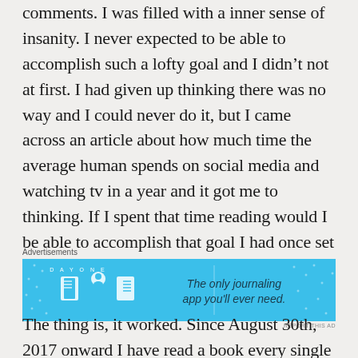comments. I was filled with a inner sense of insanity. I never expected to be able to accomplish such a lofty goal and I didn't not at first. I had given up thinking there was no way and I could never do it, but I came across an article about how much time the average human spends on social media and watching tv in a year and it got me to thinking. If I spent that time reading would I be able to accomplish that goal I had once set for myself?
[Figure (other): Advertisement banner for Day One journaling app with blue background, app icons, and text: 'The only journaling app you'll ever need.']
The thing is, it worked. Since August 30th, 2017 onward I have read a book every single day. I have